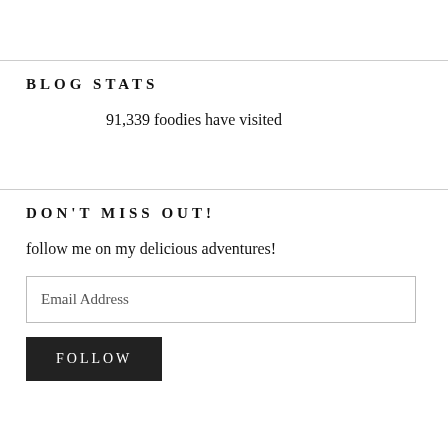BLOG STATS
91,339 foodies have visited
DON'T MISS OUT!
follow me on my delicious adventures!
Email Address
FOLLOW